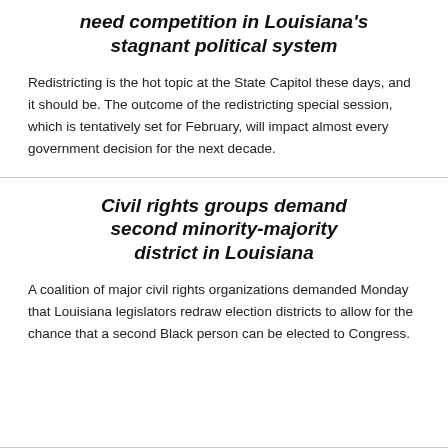need competition in Louisiana's stagnant political system
Redistricting is the hot topic at the State Capitol these days, and it should be. The outcome of the redistricting special session, which is tentatively set for February, will impact almost every government decision for the next decade.
Civil rights groups demand second minority-majority district in Louisiana
A coalition of major civil rights organizations demanded Monday that Louisiana legislators redraw election districts to allow for the chance that a second Black person can be elected to Congress.